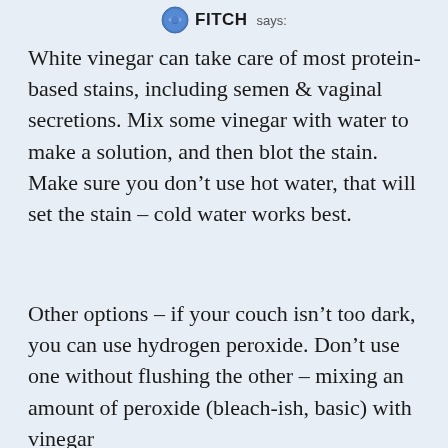FITCH says:
White vinegar can take care of most protein-based stains, including semen & vaginal secretions. Mix some vinegar with water to make a solution, and then blot the stain. Make sure you don’t use hot water, that will set the stain – cold water works best.
Other options – if your couch isn’t too dark, you can use hydrogen peroxide. Don’t use one without flushing the other – mixing an amount of peroxide (bleach-ish, basic) with vinegar